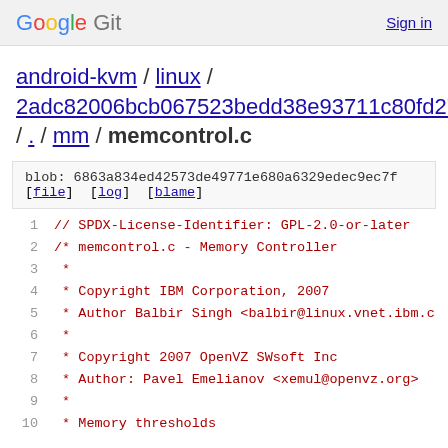Google Git   Sign in
android-kvm / linux / 2adc82006bcb067523bedd38e93711c80fd274c1 / . / mm / memcontrol.c
blob: 6863a834ed42573de49771e680a6329edec9ec7f
[file] [log] [blame]
1   // SPDX-License-Identifier: GPL-2.0-or-later
2   /* memcontrol.c - Memory Controller
3    *
4    * Copyright IBM Corporation, 2007
5    * Author Balbir Singh <balbir@linux.vnet.ibm.c
6    *
7    * Copyright 2007 OpenVZ SWsoft Inc
8    * Author: Pavel Emelianov <xemul@openvz.org>
9    *
10   * Memory thresholds